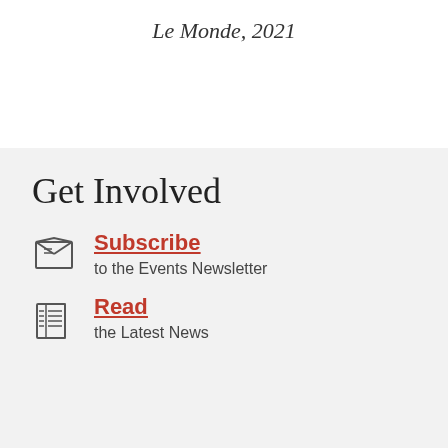Le Monde, 2021
Get Involved
Subscribe
to the Events Newsletter
Read
the Latest News